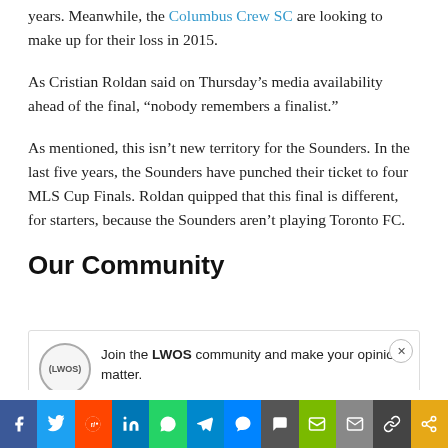years. Meanwhile, the Columbus Crew SC are looking to make up for their loss in 2015.
As Cristian Roldan said on Thursday’s media availability ahead of the final, “nobody remembers a finalist.”
As mentioned, this isn’t new territory for the Sounders. In the last five years, the Sounders have punched their ticket to four MLS Cup Finals. Roldan quipped that this final is different, for starters, because the Sounders aren’t playing Toronto FC.
Our Community
[Figure (other): LWOS community join banner with logo and close button]
[Figure (other): Social sharing bar with Facebook, Twitter, Reddit, LinkedIn, WhatsApp, Telegram, Messenger, Comments, SMS, Email, Copy, Share buttons]